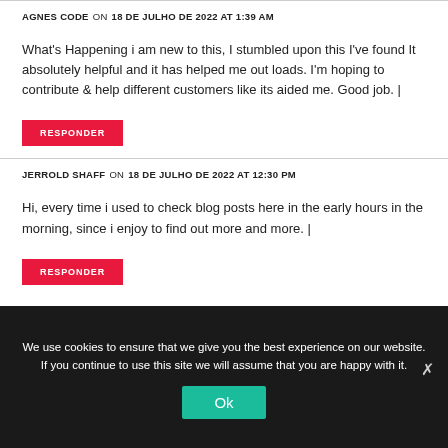AGNES CODE   ON   18 DE JULHO DE 2022 AT 1:39 AM
What's Happening i am new to this, I stumbled upon this I've found It absolutely helpful and it has helped me out loads. I'm hoping to contribute & help different customers like its aided me. Good job. |
RESPONDER
JERROLD SHAFF   ON   18 DE JULHO DE 2022 AT 12:30 PM
Hi, every time i used to check blog posts here in the early hours in the morning, since i enjoy to find out more and more. |
RESPONDER
We use cookies to ensure that we give you the best experience on our website. If you continue to use this site we will assume that you are happy with it.